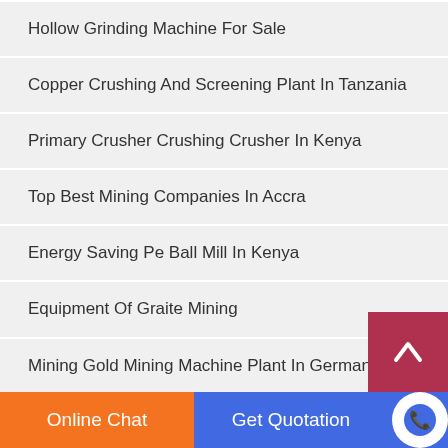Hollow Grinding Machine For Sale
Copper Crushing And Screening Plant In Tanzania
Primary Crusher Crushing Crusher In Kenya
Top Best Mining Companies In Accra
Energy Saving Pe Ball Mill In Kenya
Equipment Of Graite Mining
Mining Gold Mining Machine Plant In Germany
European Styled With Low Price Stone Crusher Plant For R
Almonds Mini Nuts Crusher From Indonesia